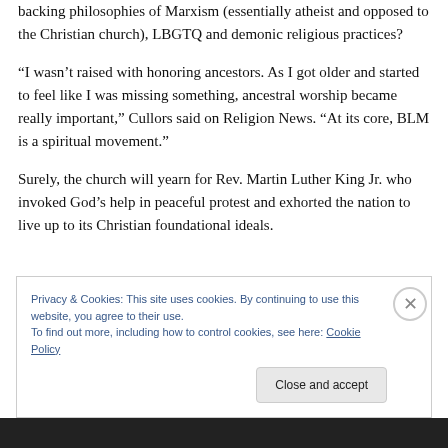backing philosophies of Marxism (essentially atheist and opposed to the Christian church), LBGTQ and demonic religious practices?
“I wasn’t raised with honoring ancestors. As I got older and started to feel like I was missing something, ancestral worship became really important,” Cullors said on Religion News. “At its core, BLM is a spiritual movement.”
Surely, the church will yearn for Rev. Martin Luther King Jr. who invoked God’s help in peaceful protest and exhorted the nation to live up to its Christian foundational ideals.
Privacy & Cookies: This site uses cookies. By continuing to use this website, you agree to their use.
To find out more, including how to control cookies, see here: Cookie Policy
Close and accept